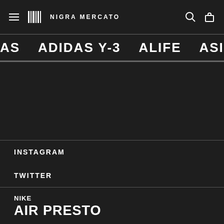NIGRA MERCATO
AS   ADIDAS Y-3   ALIFE   ASICS   BUTT
INSTAGRAM
TWITTER
NIKE
AIR PRESTO
SIZE